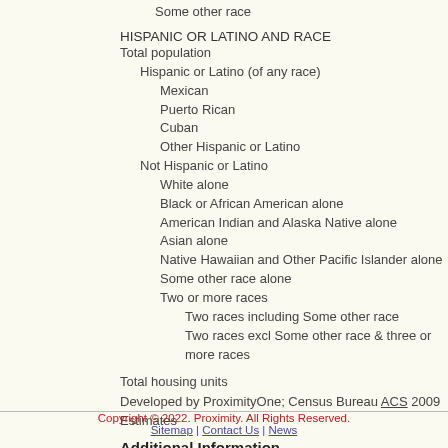Some other race
HISPANIC OR LATINO AND RACE
Total population
Hispanic or Latino (of any race)
Mexican
Puerto Rican
Cuban
Other Hispanic or Latino
Not Hispanic or Latino
White alone
Black or African American alone
American Indian and Alaska Native alone
Asian alone
Native Hawaiian and Other Pacific Islander alone
Some other race alone
Two or more races
Two races including Some other race
Two races excl Some other race & three or more races
Total housing units
Developed by ProximityOne; Census Bureau ACS 2009 Estimates
Additional Information
Proximity develops geodemographic-economic data and decision-making and analytical framework. We develop geocoded address files, and assist with impact and geos methodologies) to analyze their own data integrated with this section or to discuss custom estimates, projections
Copyright © 2022. Proximity. All Rights Reserved. | Sitemap | Contact Us | News